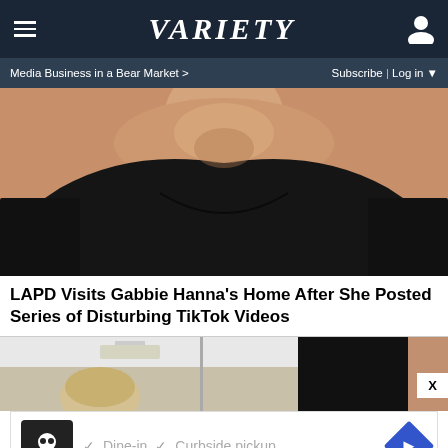VARIETY
Media Business in a Bear Market > Subscribe | Log in
[Figure (photo): Cropped photo of a woman in a black off-shoulder top, showing her neck and upper torso]
LAPD Visits Gabbie Hanna's Home After She Posted Series of Disturbing TikTok Videos
[Figure (photo): Two side-by-side photos: left showing a blonde person from above, right showing a dark screen]
[Figure (other): Advertisement overlay: restaurant ad with skull logo, Dine-in, Curbside pickup options, navigation icon]